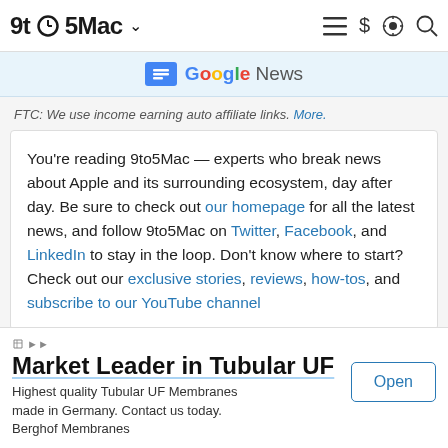9to5Mac
[Figure (logo): Google News logo with icon]
FTC: We use income earning auto affiliate links. More.
You’re reading 9to5Mac — experts who break news about Apple and its surrounding ecosystem, day after day. Be sure to check out our homepage for all the latest news, and follow 9to5Mac on Twitter, Facebook, and LinkedIn to stay in the loop. Don’t know where to start? Check out our exclusive stories, reviews, how-tos, and subscribe to our YouTube channel
[Figure (infographic): Advertisement banner: Market Leader in Tubular UF. Highest quality Tubular UF Membranes made in Germany. Contact us today. Berghof Membranes. Open button.]